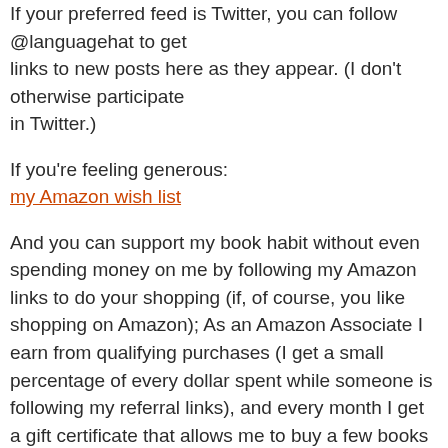If your preferred feed is Twitter, you can follow @languagehat to get links to new posts here as they appear. (I don't otherwise participate in Twitter.)
If you're feeling generous:
my Amazon wish list
And you can support my book habit without even spending money on me by following my Amazon links to do your shopping (if, of course, you like shopping on Amazon); As an Amazon Associate I earn from qualifying purchases (I get a small percentage of every dollar spent while someone is following my referral links), and every month I get a gift certificate that allows me to buy a few books (or, if someone has bought a big-ticket item, even more). You will not only get your purchases, you will get my blessings and a karmic boost!
If your comment goes into moderation (which can happen if it has too many links or if the software just takes it into its head to be suspicious), I will usually set it free reasonably quickly… unless it happens during the night, say between 10 PM and 8 AM